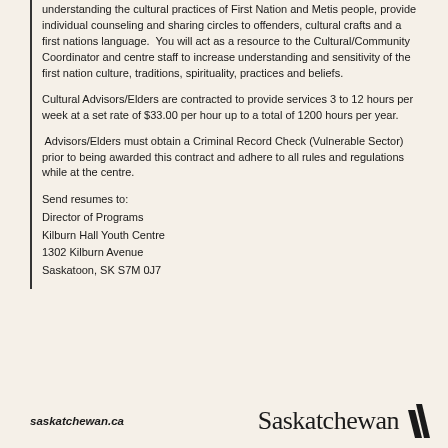understanding the cultural practices of First Nation and Metis people, provide individual counseling and sharing circles to offenders, cultural crafts and a first nations language.  You will act as a resource to the Cultural/Community Coordinator and centre staff to increase understanding and sensitivity of the first nation culture, traditions, spirituality, practices and beliefs.
Cultural Advisors/Elders are contracted to provide services 3 to 12 hours per week at a set rate of $33.00 per hour up to a total of 1200 hours per year.
Advisors/Elders must obtain a Criminal Record Check (Vulnerable Sector) prior to being awarded this contract and adhere to all rules and regulations while at the centre.
Send resumes to:
Director of Programs
Kilburn Hall Youth Centre
1302 Kilburn Avenue
Saskatoon, SK S7M 0J7
saskatchewan.ca   Saskatchewan